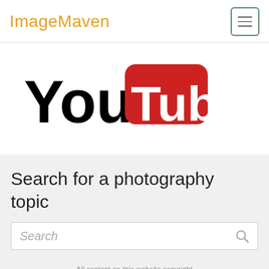ImageMaven
[Figure (logo): YouTube logo: 'You' in bold black text and 'Tube' in white text on a red rounded rectangle badge]
Search for a photography topic
Search
All content on this website copyright by ImageMaven Inc.